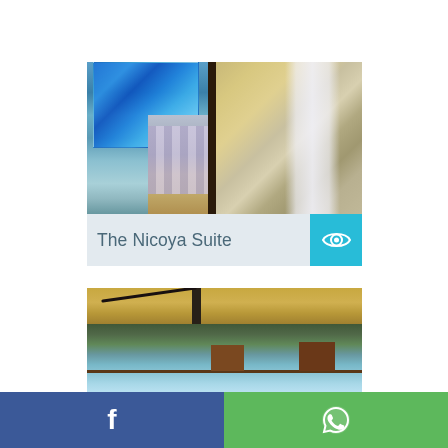[Figure (photo): Hotel room interior showing a bed with purple checkered bedspread, a wave painting on a blue wall, wooden shelving unit, an armchair, and a sliding glass door leading to an outdoor area with another armchair and tropical plant]
The Nicoya Suite
[Figure (photo): Terrace or balcony view showing a hammock under a canvas awning, wooden chairs and railing, lush green hillside with ocean horizon in the background under blue sky]
Facebook share button | WhatsApp share button